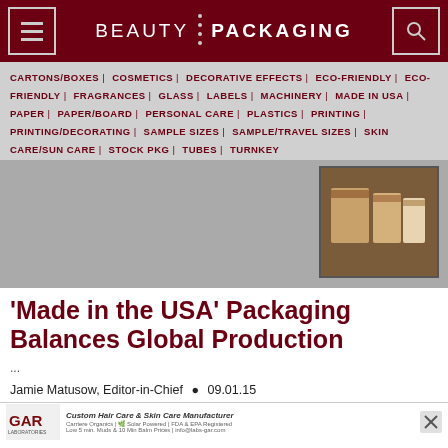BEAUTY PACKAGING
CARTONS/BOXES | COSMETICS | DECORATIVE EFFECTS | ECO-FRIENDLY | ECO-FRIENDLY | FRAGRANCES | GLASS | LABELS | MACHINERY | MADE IN USA | PAPER | PAPER/BOARD | PERSONAL CARE | PLASTICS | PRINTING | PRINTING/DECORATING | SAMPLE SIZES | SAMPLE/TRAVEL SIZES | SKIN CARE/SUN CARE | STOCK PKG | TUBES | TURNKEY
[Figure (photo): Product image showing packaging items in brownish tones]
‘Made in the USA’ Packaging Balances Global Production
...
Jamie Matusow, Editor-in-Chief • 09.01.15
[Figure (other): GAR Laboratories advertisement - Custom Hair Care & Skin Care Manufacturer]